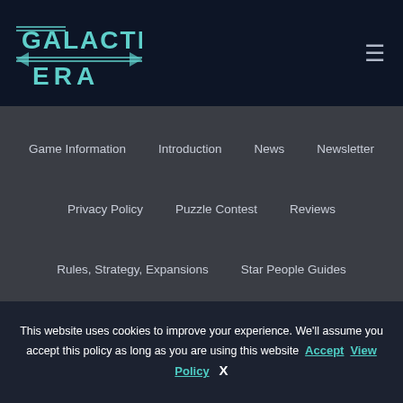[Figure (logo): Galactic Era logo with stylized text and wing/chevron decorations in teal/cyan on dark navy background, with hamburger menu icon top right]
Game Information
Introduction
News
Newsletter
Privacy Policy
Puzzle Contest
Reviews
Rules, Strategy, Expansions
Star People Guides
Teilnahmebedingungen für Rätsel-Gewinnspiel
This website uses cookies to improve your experience. We'll assume you accept this policy as long as you are using this website  Accept  View Policy  X